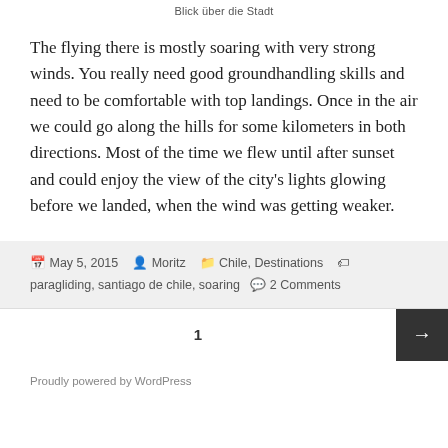Blick über die Stadt
The flying there is mostly soaring with very strong winds. You really need good groundhandling skills and need to be comfortable with top landings. Once in the air we could go along the hills for some kilometers in both directions. Most of the time we flew until after sunset and could enjoy the view of the city's lights glowing before we landed, when the wind was getting weaker.
May 5, 2015  Moritz  Chile, Destinations  paragliding, santiago de chile, soaring  2 Comments
1
Proudly powered by WordPress